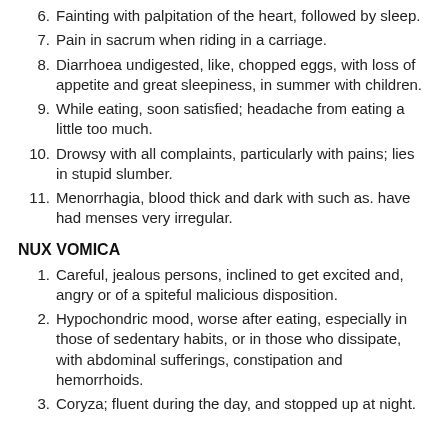6. Fainting with palpitation of the heart, followed by sleep.
7. Pain in sacrum when riding in a carriage.
8. Diarrhoea undigested, like, chopped eggs, with loss of appetite and great sleepiness, in summer with children.
9. While eating, soon satisfied; headache from eating a little too much.
10. Drowsy with all complaints, particularly with pains; lies in stupid slumber.
11. Menorrhagia, blood thick and dark with such as. have had menses very irregular.
NUX VOMICA
1. Careful, jealous persons, inclined to get excited and, angry or of a spiteful malicious disposition.
2. Hypochondric mood, worse after eating, especially in those of sedentary habits, or in those who dissipate, with abdominal sufferings, constipation and hemorrhoids.
3. Coryza; fluent during the day, and stopped up at night.